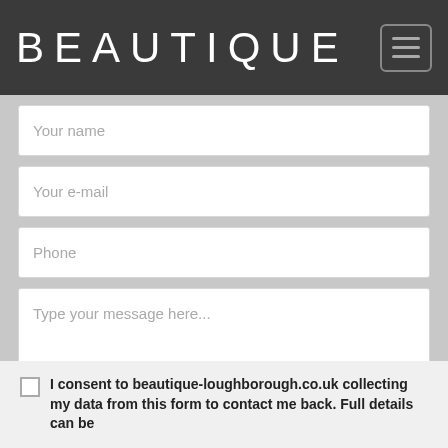BEAUTIQUE
Your name
Your e-mail
Phone
Type your message here...
I consent to beautique-loughborough.co.uk collecting my data from this form to contact me back. Full details can be